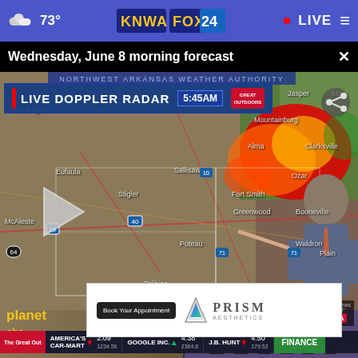☁ 73° | KNWA FOX 24 | • LIVE
Wednesday, June 8 morning forecast
[Figure (screenshot): Live Doppler Radar weather map at 5:45AM showing Northwest Arkansas Weather Authority coverage area including cities: Muskogee, Sallisaw, Fort Smith, Alma, Clarksville, Eufaula, Stigler, Greenwood, Booneville, Poteau, Waldron, Talihina, McAlester, Ozark, Mountainburg. Storm system shown with red/yellow/green radar returns over eastern Oklahoma and western Arkansas. Meteorologist pointing at map. Play button overlay. Share icon. Stock ticker bar at bottom showing AMERICA'S CAR-MART 2.09, GOOGLE INC. 4.38, J.B. HUNT 4.50, FINANCE tab. KNWA watermark.]
You can name a planet obs... We... Telescope...
Deputy ki×d ... in Oklahoma ... ce
[Figure (photo): Advertisement overlay: Book Your Appointment - PRISM logo with triangle graphic]
[Figure (photo): Group photo of multiple women dressed in black]